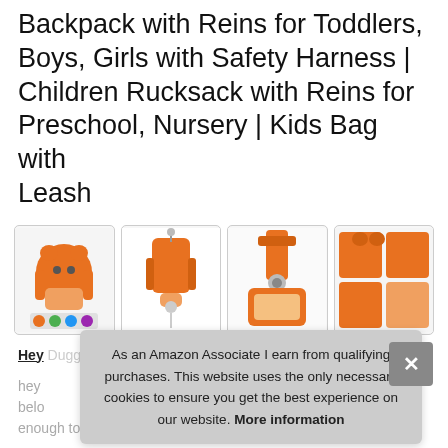Hey Duggee Kids Reins with Backpack | Backpack with Reins for Toddlers, Boys, Girls with Safety Harness | Children Rucksack with Reins for Preschool, Nursery | Kids Bag with Leash
[Figure (photo): Four product thumbnail images of Hey Duggee kids backpack with reins/harness, showing different angles and features of the orange dog-shaped backpack]
Hey Duggee Kids Reins with Backpack
hey... belo... enough to fit a change of clothes or their favourite soft toy,
As an Amazon Associate I earn from qualifying purchases. This website uses the only necessary cookies to ensure you get the best experience on our website. More information